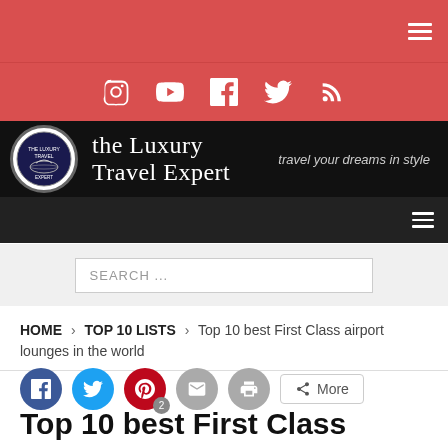the Luxury Travel Expert — travel your dreams in style
SEARCH ...
HOME > TOP 10 LISTS > Top 10 best First Class airport lounges in the world
Top 10 best First Class airport lounges in the world